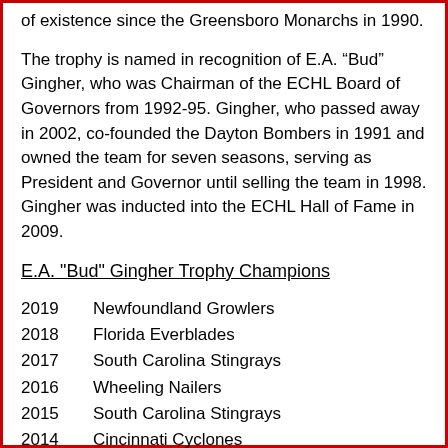of existence since the Greensboro Monarchs in 1990.
The trophy is named in recognition of E.A. “Bud” Gingher, who was Chairman of the ECHL Board of Governors from 1992-95. Gingher, who passed away in 2002, co-founded the Dayton Bombers in 1991 and owned the team for seven seasons, serving as President and Governor until selling the team in 1998. Gingher was inducted into the ECHL Hall of Fame in 2009.
E.A. "Bud" Gingher Trophy Champions
2019   Newfoundland Growlers
2018   Florida Everblades
2017   South Carolina Stingrays
2016   Wheeling Nailers
2015   South Carolina Stingrays
2014   Cincinnati Cyclones
2013   Reading Royals
2012   Florida Everblades
2011   Kalamazoo Wings
2010   Cincinnati Cyclones